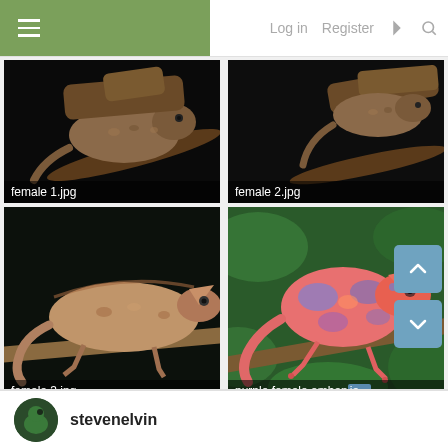Log in  Register
[Figure (photo): Chameleon on branch at night, dark background — female 1.jpg]
female 1.jpg
[Figure (photo): Chameleon on branch at night, dark background — female 2.jpg]
female 2.jpg
[Figure (photo): Brown chameleon on branch, dark background — female 3.jpg]
female 3.jpg
[Figure (photo): Pink/purple panther chameleon on branch with green leaves — purple female ambanja...]
purple female ambanja...
stevenelvin